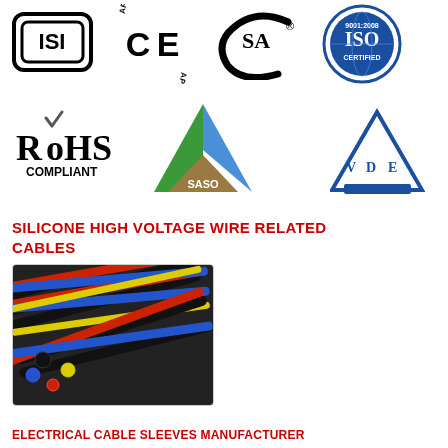[Figure (logo): ISI certification logo - square rounded rectangle with ISI text inside]
[Figure (logo): CE Approved logo - CE mark with APPROVED text above and below in circular arrangement]
[Figure (logo): CSA certification logo - CSA letters with registered trademark symbol]
[Figure (logo): ISO 9001:2008 Certified logo - circular blue badge]
[Figure (logo): RoHS Compliant logo - RoHS with checkmark, COMPLIANT below]
[Figure (logo): SASO logo - triangular logo with green and brown/gold colors]
[Figure (logo): VDE logo - blue triangle with VDE text inside]
SILICONE HIGH VOLTAGE WIRE RELATED CABLES
[Figure (photo): Photo of colorful electrical cable sleeves/tubes in black, red, blue, and yellow colors bundled together]
ELECTRICAL CABLE SLEEVES MANUFACTURER